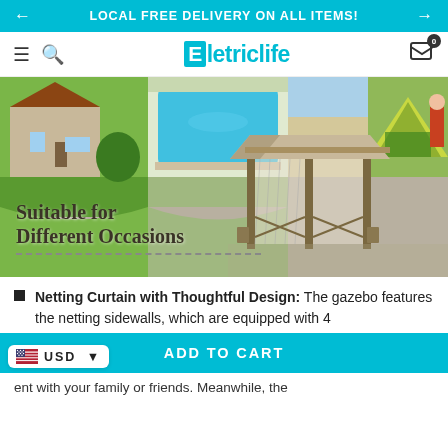LOCAL FREE DELIVERY ON ALL ITEMS!
[Figure (logo): Eletriclife brand logo with hamburger menu, search icon, and cart icon with 0 badge]
[Figure (photo): Composite hero image showing a house with lawn, a swimming pool, a beach with kayak, a tent with people, and a gazebo with netting curtains. Text overlay reads: Suitable for Different Occasions]
Netting Curtain with Thoughtful Design: The gazebo features the netting sidewalls, which are equipped with 4
[Figure (other): Add to Cart button bar with USD currency selector showing US flag]
ent with your family or friends. Meanwhile, the